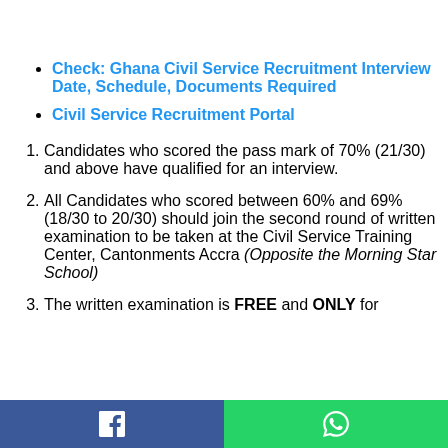Check: Ghana Civil Service Recruitment Interview Date, Schedule, Documents Required
Civil Service Recruitment Portal
Candidates who scored the pass mark of 70% (21/30) and above have qualified for an interview.
All Candidates who scored between 60% and 69% (18/30 to 20/30) should join the second round of written examination to be taken at the Civil Service Training Center, Cantonments Accra (Opposite the Morning Star School)
The written examination is FREE and ONLY for
Facebook share | WhatsApp share